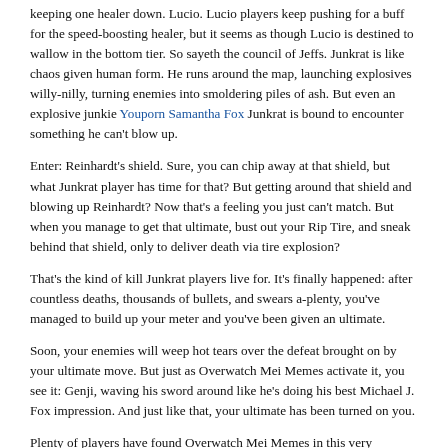keeping one healer down. Lucio. Lucio players keep pushing for a buff for the speed-boosting healer, but it seems as though Lucio is destined to wallow in the bottom tier. So sayeth the council of Jeffs. Junkrat is like chaos given human form. He runs around the map, launching explosives willy-nilly, turning enemies into smoldering piles of ash. But even an explosive junkie Youporn Samantha Fox Junkrat is bound to encounter something he can't blow up.
Enter: Reinhardt's shield. Sure, you can chip away at that shield, but what Junkrat player has time for that? But getting around that shield and blowing up Reinhardt? Now that's a feeling you just can't match. But when you manage to get that ultimate, bust out your Rip Tire, and sneak behind that shield, only to deliver death via tire explosion?
That's the kind of kill Junkrat players live for. It's finally happened: after countless deaths, thousands of bullets, and swears a-plenty, you've managed to build up your meter and you've been given an ultimate.
Soon, your enemies will weep hot tears over the defeat brought on by your ultimate move. But just as Overwatch Mei Memes activate it, you see it: Genji, waving his sword around like he's doing his best Michael J. Fox impression. And just like that, your ultimate has been turned on you.
Plenty of players have found Overwatch Mei Memes in this very situation. Whether you're throwing Zarya's Graviton Surge or Hanzo's dreaded Dragon Arrow, if Genji manages to catch your ultimate in his deflect, it's game over. Let us paint you a picture, Freepon reader.
Imagine you are playing Roadhog, lumbering around the map. A Mercy enters your line of fire. She's all alone. Also, she's blind and she has a broken ankle for some reason. You see your opportunity and you rear your hook back, letting it fly towards the hapless Mercy. You snag the poor creature and reel it in for the kill.
Boom, headshot. Flawless victory. While Roadhog's hook used to be capable of handling this situation with ease, it's just not quite as reliable as it used to be.